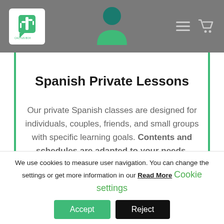Cactus Box header with logo, user icon, menu, and cart
Spanish Private Lessons
Our private Spanish classes are designed for individuals, couples, friends, and small groups with specific learning goals. Contents and schedules are adapted to your needs, offering a
We use cookies to measure user navigation. You can change the settings or get more information in our Read More Cookie settings
Accept
Reject